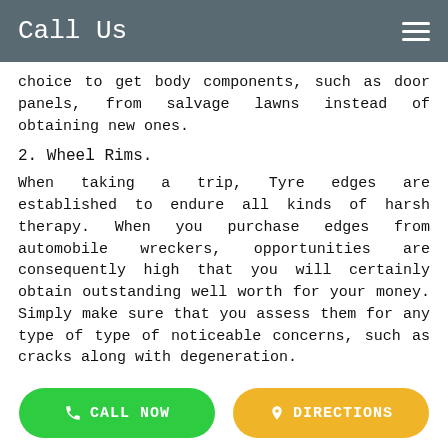Call Us
choice to get body components, such as door panels, from salvage lawns instead of obtaining new ones.
2. Wheel Rims.
When taking a trip, Tyre edges are established to endure all kinds of harsh therapy. When you purchase edges from automobile wreckers, opportunities are consequently high that you will certainly obtain outstanding well worth for your money. Simply make sure that you assess them for any type of type of noticeable concerns, such as cracks along with degeneration.
3. Seats.
Your best work will definitely be to figure out the measurement of the seats that fit right into your automobile prior to going out to the vehicle damaging center. Refer to the manual of your vehicle for the correct seat measurements to